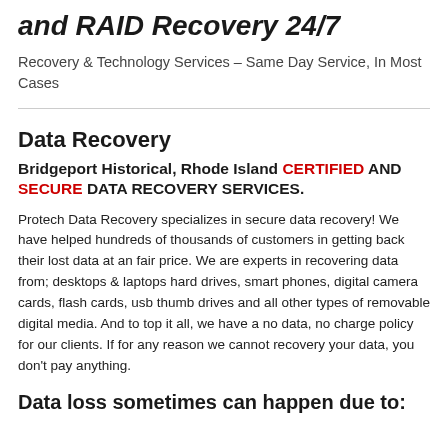and RAID Recovery 24/7
Recovery & Technology Services – Same Day Service, In Most Cases
Data Recovery
Bridgeport Historical, Rhode Island CERTIFIED AND SECURE DATA RECOVERY SERVICES.
Protech Data Recovery specializes in secure data recovery! We have helped hundreds of thousands of customers in getting back their lost data at an fair price. We are experts in recovering data from; desktops & laptops hard drives, smart phones, digital camera cards, flash cards, usb thumb drives and all other types of removable digital media. And to top it all, we have a no data, no charge policy for our clients. If for any reason we cannot recovery your data, you don't pay anything.
Data loss sometimes can happen due to: